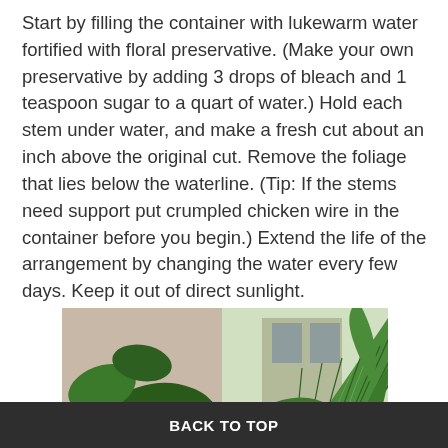Start by filling the container with lukewarm water fortified with floral preservative. (Make your own preservative by adding 3 drops of bleach and 1 teaspoon sugar to a quart of water.) Hold each stem under water, and make a fresh cut about an inch above the original cut. Remove the foliage that lies below the waterline. (Tip: If the stems need support put crumpled chicken wire in the container before you begin.) Extend the life of the arrangement by changing the water every few days. Keep it out of direct sunlight.
[Figure (photo): Close-up photograph of large green tropical leaves including a fan palm and broad rubber plant leaves, with a building and green outdoor scenery visible in the background.]
BACK TO TOP